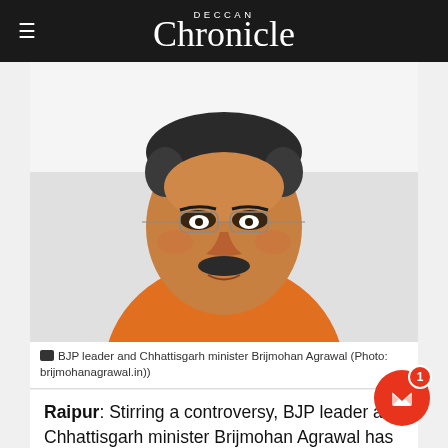Deccan Chronicle
[Figure (photo): Portrait photo of BJP leader and Chhattisgarh minister Brijmohan Agrawal, a middle-aged man wearing glasses and an orange kurta, smiling at camera]
BJP leader and Chhattisgarh minister Brijmohan Agrawal (Photo: brijmohanagrawal.in))
Raipur: Stirring a controversy, BJP leader and Chhattisgarh minister Brijmohan Agrawal has said his party workers are capable of ‘breaking jaws of anti-national elements’ who raise slogans against the country and demanded that those who are in India chant ‘Bharat Mata ki Jai’.